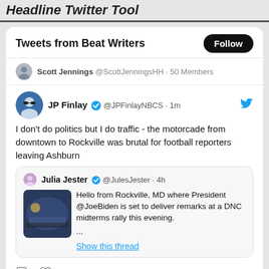Headline Twitter Tool
Tweets from Beat Writers
Scott Jennings @ScottJenningsHH · 50 Members
JP Finlay @JPFinlayNBCS · 1m
I don't do politics but I do traffic - the motorcade from downtown to Rockville was brutal for football reporters leaving Ashburn
Julia Jester @JulesJester · 4h
Hello from Rockville, MD where President @JoeBiden is set to deliver remarks at a DNC midterms rally this evening. ...
Show this thread
7
Paul Conner Retweeted